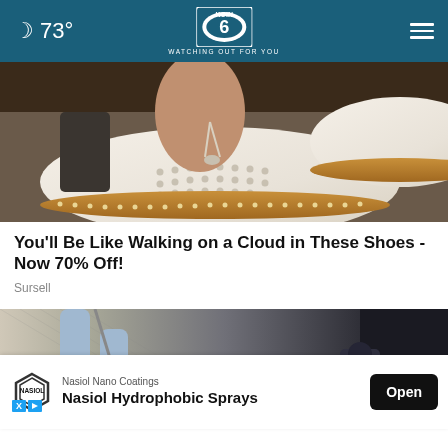🌙 73° | KOIN 6 | WATCHING OUT FOR YOU
[Figure (photo): Close-up photo of white perforated leather slip-on shoes with tan/brown espadrille-style soles, worn by a person standing on pavement]
You'll Be Like Walking on a Cloud in These Shoes - Now 70% Off!
Sursell
[Figure (photo): Photo of a person walking a dog on a leash, shown from mid-body downward, with a red leash visible and dark background elements]
Nasiol Nano Coatings
Nasiol Hydrophobic Sprays
Open